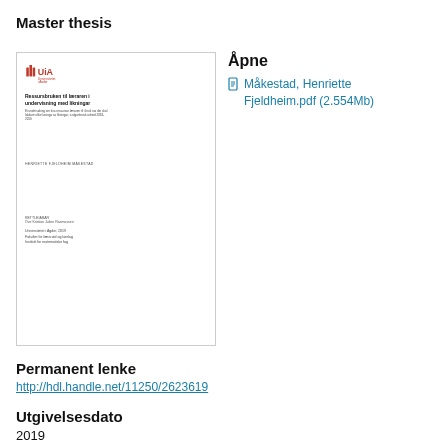Master thesis
[Figure (other): Thumbnail of a master thesis document with UiA (Universitetet i Agder) logo, title 'Ressursbruken til læraren i undervisning med likningar', author HENRIETTE FJELDHEIM MÅKESTAD, and institutional details.]
Åpne
Måkestad, Henriette Fjeldheim.pdf (2.554Mb)
Permanent lenke
http://hdl.handle.net/11250/2623619
Utgivelsesdato
2019